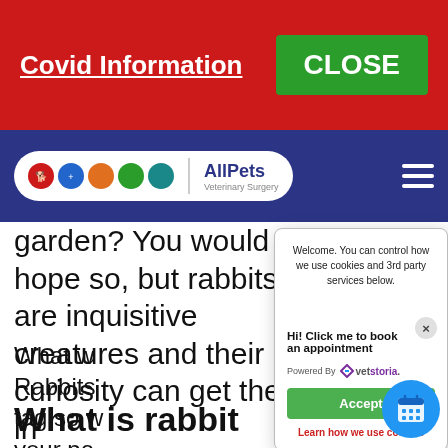Covid Information
[Figure (logo): AllPets Veterinary Surgery logo with colored animal icons inside a white pill shape on a dark blue navigation bar]
garden? You would hope so, but rabbits are inquisitive creatures and their curiosity can get them in
What w Rabbits tag so w your pe return them rabbits is a
Welcome. You can control how we use cookies and 3rd party services below.
Hi! Click me to book an appointment
Powered By vetstoria
Accept
Learn how we use cookies
What is rabbit